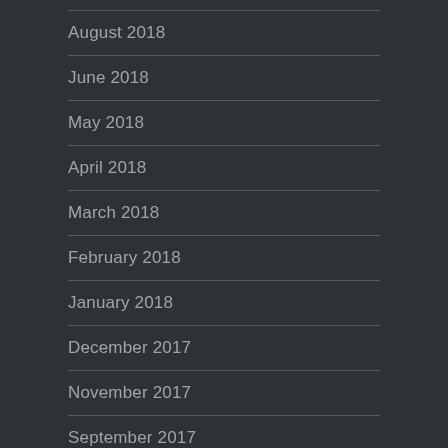August 2018
June 2018
May 2018
April 2018
March 2018
February 2018
January 2018
December 2017
November 2017
September 2017
August 2017